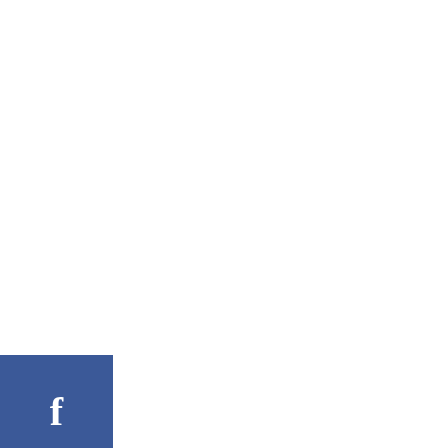degree angle, towards you. Run the knife down the top face of the corn, slicing off the kernels off of the top side, toward the board. Now that you have a kernel-less side, place that flat on the cutting board, so the cob doesn't roll around.
Can you blanch corn after cutting it off the cob?
Blanched Corn Kernels
Bring a large pot of water to boil. Drop shucked ears into boiling water and cook 2-3 minutes. … Cut kernels off of cobs, spoon into freezer baggies, remove as much air as possible (again using a straw), seal and freeze.
How long should I boil frozen corn on the cob?
Boil frozen corn...